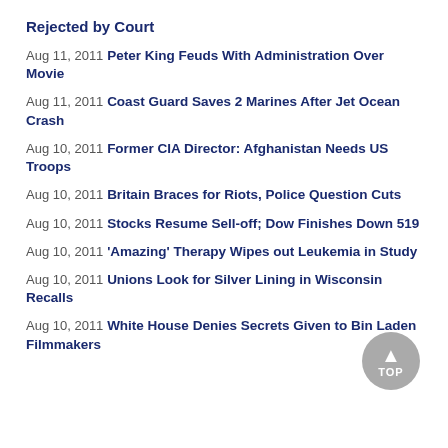Rejected by Court
Aug 11, 2011 Peter King Feuds With Administration Over Movie
Aug 11, 2011 Coast Guard Saves 2 Marines After Jet Ocean Crash
Aug 10, 2011 Former CIA Director: Afghanistan Needs US Troops
Aug 10, 2011 Britain Braces for Riots, Police Question Cuts
Aug 10, 2011 Stocks Resume Sell-off; Dow Finishes Down 519
Aug 10, 2011 'Amazing' Therapy Wipes out Leukemia in Study
Aug 10, 2011 Unions Look for Silver Lining in Wisconsin Recalls
Aug 10, 2011 White House Denies Secrets Given to Bin Laden Filmmakers